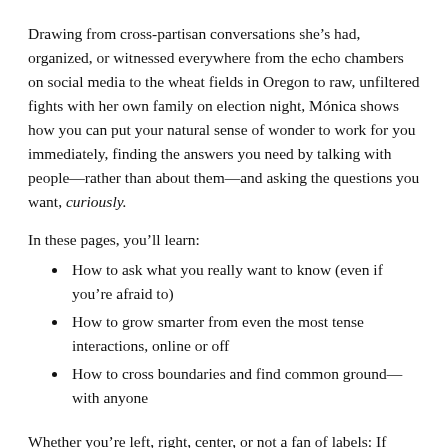Drawing from cross-partisan conversations she's had, organized, or witnessed everywhere from the echo chambers on social media to the wheat fields in Oregon to raw, unfiltered fights with her own family on election night, Mónica shows how you can put your natural sense of wonder to work for you immediately, finding the answers you need by talking with people—rather than about them—and asking the questions you want, curiously.
In these pages, you'll learn:
How to ask what you really want to know (even if you're afraid to)
How to grow smarter from even the most tense interactions, online or off
How to cross boundaries and find common ground—with anyone
Whether you're left, right, center, or not a fan of labels: If you're ready to fight back against the confusion, heartbreak,